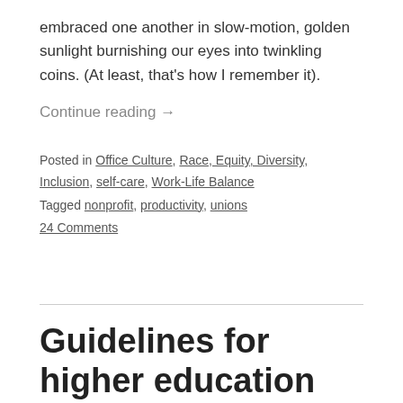embraced one another in slow-motion, golden sunlight burnishing our eyes into twinkling coins. (At least, that's how I remember it).
Continue reading →
Posted in Office Culture, Race, Equity, Diversity, Inclusion, self-care, Work-Life Balance
Tagged nonprofit, productivity, unions
24 Comments
Guidelines for higher education programs that